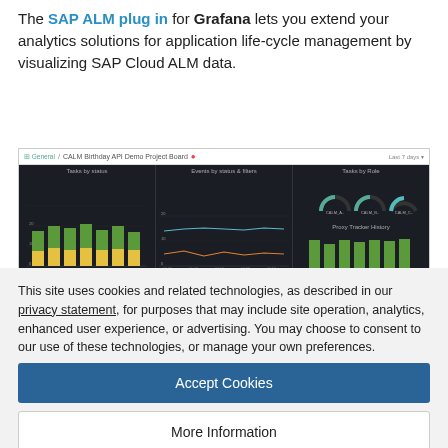The SAP ALM plug in for Grafana lets you extend your analytics solutions for application life-cycle management by visualizing SAP Cloud ALM data.
[Figure (screenshot): Screenshot of a Grafana dashboard showing SAP Cloud ALM data with bar charts and line charts in a dark-themed UI]
This site uses cookies and related technologies, as described in our privacy statement, for purposes that may include site operation, analytics, enhanced user experience, or advertising. You may choose to consent to our use of these technologies, or manage your own preferences.
Accept Cookies
More Information
Privacy Policy | Powered by: TrustArc
graph composer for visualization of data sources primarily cloud in line services.